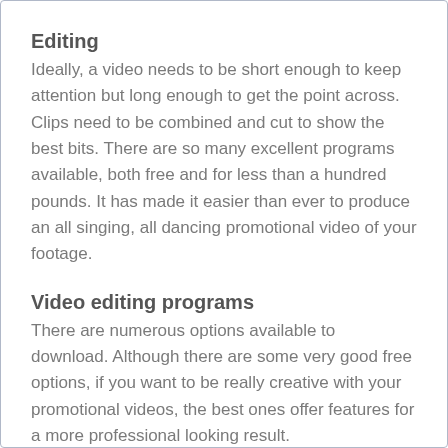Editing
Ideally, a video needs to be short enough to keep attention but long enough to get the point across. Clips need to be combined and cut to show the best bits. There are so many excellent programs available, both free and for less than a hundred pounds. It has made it easier than ever to produce an all singing, all dancing promotional video of your footage.
Video editing programs
There are numerous options available to download. Although there are some very good free options, if you want to be really creative with your promotional videos, the best ones offer features for a more professional looking result.